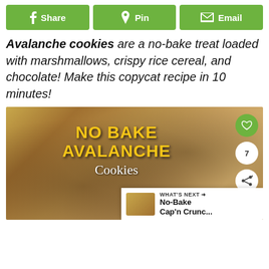[Figure (other): Three social sharing buttons: Share (Facebook), Pin (Pinterest), Email]
Avalanche cookies are a no-bake treat loaded with marshmallows, crispy rice cereal, and chocolate! Make this copycat recipe in 10 minutes!
[Figure (photo): Photo of no-bake avalanche cookies with text overlay reading NO BAKE AVALANCHE Cookies. Side buttons for heart/save, share count 7, and share icon. Bottom right shows WHAT'S NEXT -> No-Bake Cap'n Crunc...]